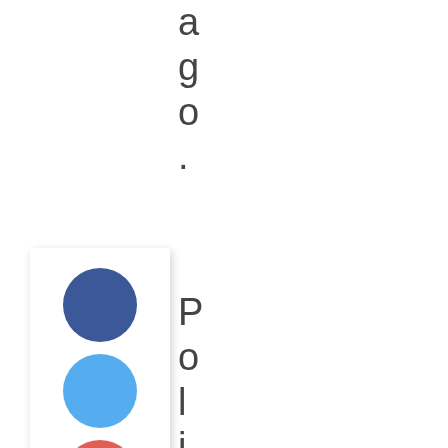ago.
[Figure (infographic): Social share widget showing 4 colored circles (dark blue, light blue, orange-red, red), share count of 137, SHARES label, and a green circle below]
PoliceSuuper